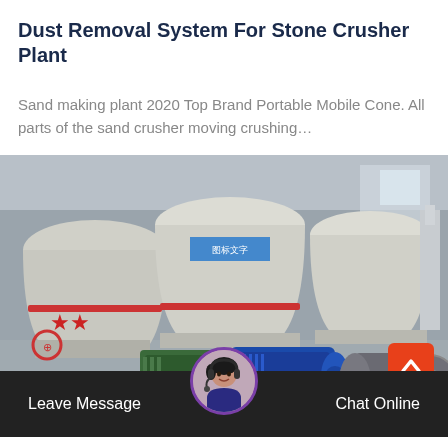Dust Removal System For Stone Crusher Plant
Sand making plant 2020 Top Brand Portable Mobile Cone. All parts of the sand crusher moving crushing…
[Figure (photo): Industrial stone crusher plant machinery including large cone crushers, electric motors (green and blue), and mechanical drive components mounted on a blue frame inside a factory. Chinese safety signage visible.]
Leave Message
Chat Online